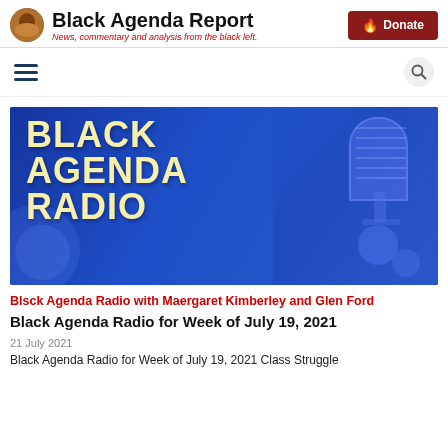Black Agenda Report — News, commentary and analysis from the black left.
[Figure (illustration): Black Agenda Radio banner image — blue background with large cream/yellow bold text reading BLACK AGENDA RADIO, with a microphone visible on the right side]
Blsck Agenda Radio with Maergaret Kimberley and Glen Ford
Black Agenda Radio for Week of July 19, 2021
21 July 2021
Black Agenda Radio for Week of July 19, 2021 Class Struggle